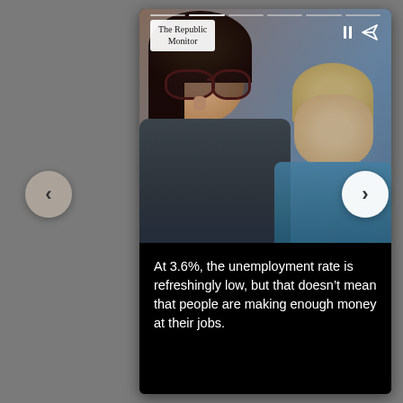[Figure (screenshot): A news article story card/slide from 'The Republic Monitor'. The upper portion shows a photograph of a woman with dark hair and cat-eye glasses looking thoughtful, with a blond child in the background wearing a teal/blue top. Navigation arrows (< and >) appear on either side. Progress bar segments appear at the top. Pause and share icons appear in the top right corner of the image area.]
At 3.6%, the unemployment rate is refreshingly low, but that doesn't mean that people are making enough money at their jobs.